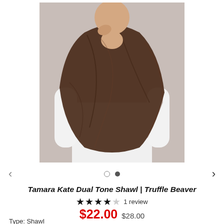[Figure (photo): Product photo of a person wearing a brown dual-tone shawl draped over a white long-sleeve top, posed against a grey background]
Tamara Kate Dual Tone Shawl | Truffle Beaver
★★★★☆ 1 review
$22.00 $28.00
Type: Shawl